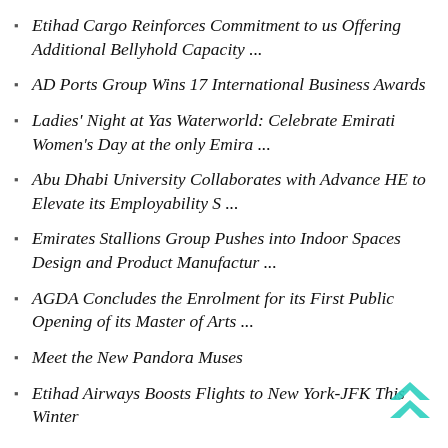Etihad Cargo Reinforces Commitment to us Offering Additional Bellyhold Capacity ...
AD Ports Group Wins 17 International Business Awards
Ladies' Night at Yas Waterworld: Celebrate Emirati Women's Day at the only Emira ...
Abu Dhabi University Collaborates with Advance HE to Elevate its Employability S ...
Emirates Stallions Group Pushes into Indoor Spaces Design and Product Manufactur ...
AGDA Concludes the Enrolment for its First Public Opening of its Master of Arts ...
Meet the New Pandora Muses
Etihad Airways Boosts Flights to New York-JFK This Winter